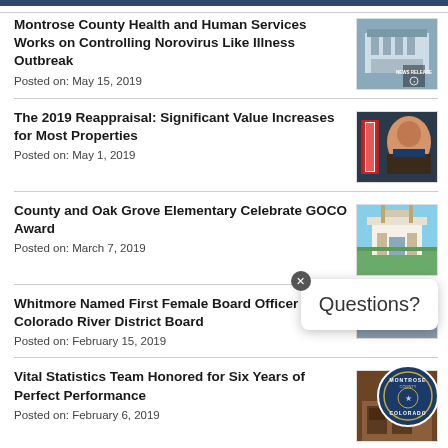Montrose County Health and Human Services Works on Controlling Norovirus Like Illness Outbreak
Posted on: May 15, 2019
The 2019 Reappraisal: Significant Value Increases for Most Properties
Posted on: May 1, 2019
County and Oak Grove Elementary Celebrate GOCO Award
Posted on: March 7, 2019
Whitmore Named First Female Board Officer of Colorado River District Board
Posted on: February 15, 2019
Vital Statistics Team Honored for Six Years of Perfect Performance
Posted on: February 6, 2019